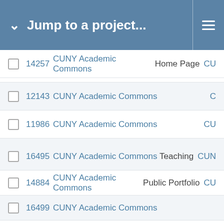Jump to a project...
14257   CUNY Academic Commons   Home Page   CU
12143   CUNY Academic Commons   C
11986   CUNY Academic Commons   CU
16495   CUNY Academic Commons   Teaching   CUN
14884   CUNY Academic Commons   Public Portfolio   CU
16499   CUNY Academic Commons
15112   CUNY Academic Commons   CUN